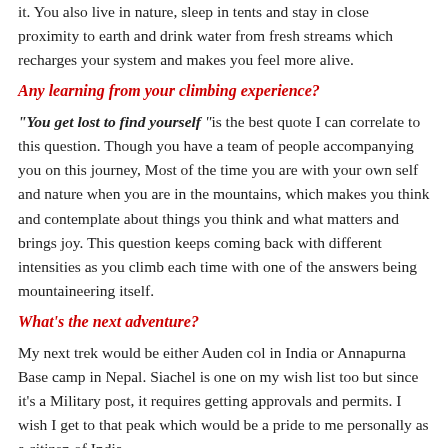it. You also live in nature, sleep in tents and stay in close proximity to earth and drink water from fresh streams which recharges your system and makes you feel more alive.
Any learning from your climbing experience?
“You get lost to find yourself “is the best quote I can correlate to this question. Though you have a team of people accompanying you on this journey, Most of the time you are with your own self and nature when you are in the mountains, which makes you think and contemplate about things you think and what matters and brings joy. This question keeps coming back with different intensities as you climb each time with one of the answers being mountaineering itself.
What’s the next adventure?
My next trek would be either Auden col in India or Annapurna Base camp in Nepal. Siachel is one on my wish list too but since it’s a Military post, it requires getting approvals and permits. I wish I get to that peak which would be a pride to me personally as a citizen of India.
Your two cents for someone who wants to try their hand at mountain climbing – (some do’s & don’ts)-